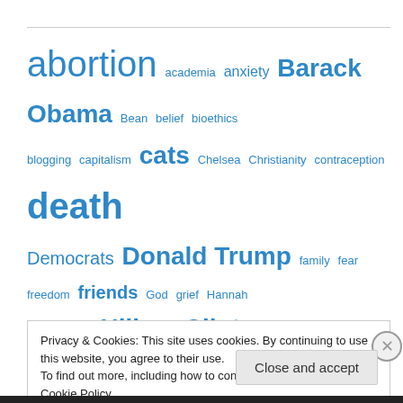[Figure (infographic): Tag cloud with various topics in blue, sized by frequency/importance. Terms include: abortion, academia, anxiety, Barack Obama, Bean, belief, bioethics, blogging, capitalism, cats, Chelsea, Christianity, contraception, death, Democrats, Donald Trump, family, fear, freedom, friends, God, grief, Hannah Arendt, heat, Hillary Clinton, history, homosexuality, illness, Jasper, justice, killing, knowledge, law, life, Life during wartime, Listen to the music, loaded dice, loss, love, memory, men, Mitt Romney, money, morality, movies, Music, New York City, Photos & art, Poetry, police]
Privacy & Cookies: This site uses cookies. By continuing to use this website, you agree to their use. To find out more, including how to control cookies, see here: Cookie Policy